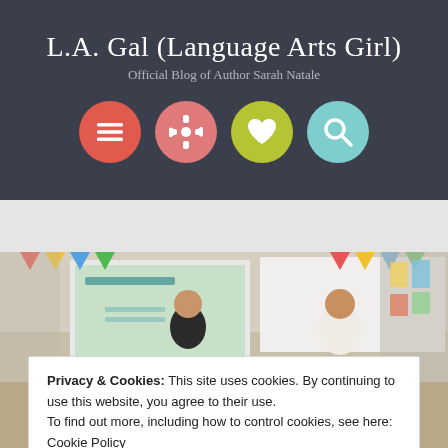L.A. Gal (Language Arts Girl)
Official Blog of Author Sarah Natale
[Figure (illustration): Four circular icon buttons: red hamburger menu, pink settings/gear, yellow-green heart, light blue search/magnifying glass]
[Figure (photo): Classroom scene with two women standing at the front, one near a projector screen, with student desks and colorful decorations on walls]
Privacy & Cookies: This site uses cookies. By continuing to use this website, you agree to their use.
To find out more, including how to control cookies, see here: Cookie Policy
Close and accept